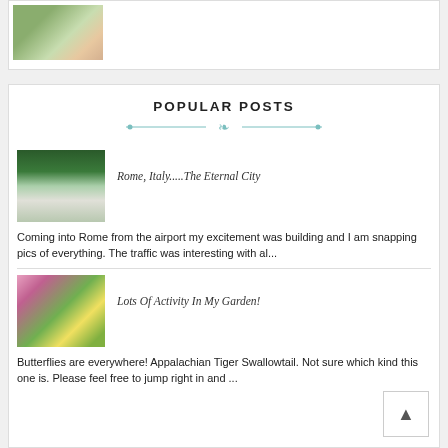[Figure (photo): Small thumbnail image of food/tea setting at top of page]
POPULAR POSTS
[Figure (photo): Thumbnail of a road sign in Rome, Italy with green directional signs]
Rome, Italy.....The Eternal City
Coming into Rome from the airport my excitement was building and I am snapping pics of everything. The traffic was interesting with al...
[Figure (photo): Thumbnail of a butterfly (Appalachian Tiger Swallowtail) on pink flowers in a garden]
Lots Of Activity In My Garden!
Butterflies are everywhere! Appalachian Tiger Swallowtail. Not sure which kind this one is. Please feel free to jump right in and ...